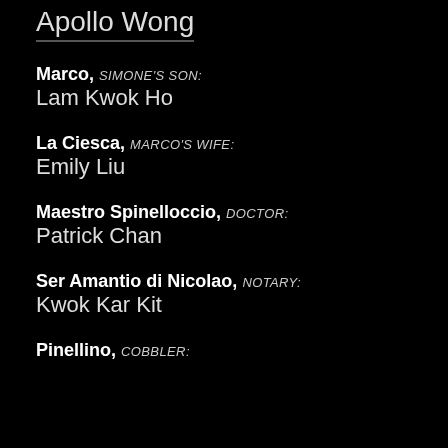Apollo Wong
Marco, SIMONE'S SON: Lam Kwok Ho
La Ciesca, MARCO'S WIFE: Emily Liu
Maestro Spinelloccio, DOCTOR: Patrick Chan
Ser Amantio di Nicolao, NOTARY: Kwok Kar Kit
Pinellino, COBBLER: